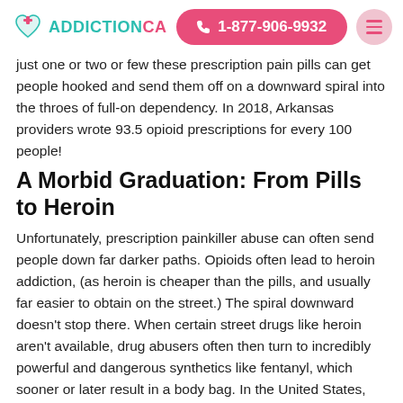ADDICTIONCA  1-877-906-9932
just one or two or few these prescription pain pills can get people hooked and send them off on a downward spiral into the throes of full-on dependency. In 2018, Arkansas providers wrote 93.5 opioid prescriptions for every 100 people!
A Morbid Graduation: From Pills to Heroin
Unfortunately, prescription painkiller abuse can often send people down far darker paths. Opioids often lead to heroin addiction, (as heroin is cheaper than the pills, and usually far easier to obtain on the street.) The spiral downward doesn't stop there. When certain street drugs like heroin aren't available, drug abusers often then turn to incredibly powerful and dangerous synthetics like fentanyl, which sooner or later result in a body bag. In the United States,